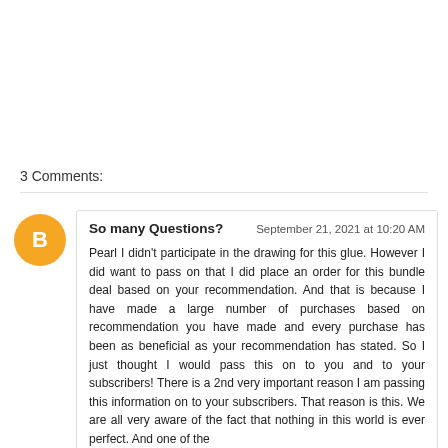3 Comments:
So many Questions?   September 21, 2021 at 10:20 AM

Pearl I didn't participate in the drawing for this glue. However I did want to pass on that I did place an order for this bundle deal based on your recommendation. And that is because I have made a large number of purchases based on recommendation you have made and every purchase has been as beneficial as your recommendation has stated. So I just thought I would pass this on to you and to your subscribers! There is a 2nd very important reason I am passing this information on to your subscribers. That reason is this. We are all very aware of the fact that nothing in this world is ever perfect. And one of the